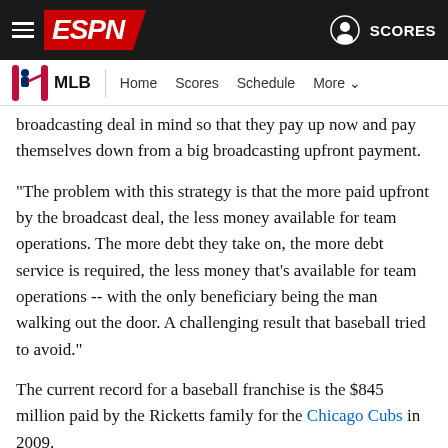ESPN header navigation with hamburger menu, ESPN logo, user icon, and SCORES link
MLB  Home  Scores  Schedule  More
broadcasting deal in mind so that they pay up now and pay themselves down from a big broadcasting upfront payment.
"The problem with this strategy is that the more paid upfront by the broadcast deal, the less money available for team operations. The more debt they take on, the more debt service is required, the less money that's available for team operations -- with the only beneficiary being the man walking out the door. A challenging result that baseball tried to avoid."
The current record for a baseball franchise is the $845 million paid by the Ricketts family for the Chicago Cubs in 2009.
The Dodgers filed for bankruptcy protection in late June, just days before the team was expected to miss payroll. The filing